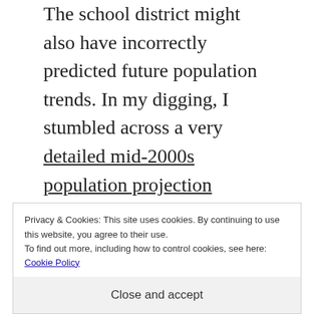The school district might also have incorrectly predicted future population trends. In my digging, I stumbled across a very detailed mid-2000s population projection requested by then-Superintendent Julio Almanza. In typical ISD 709 fashion, it was a total mess: upon receiving it he chose not to share it with anyone because it was “confusing,” which understandably had the School Board feeling a bit insulted
Privacy & Cookies: This site uses cookies. By continuing to use this website, you agree to their use.
To find out more, including how to control cookies, see here: Cookie Policy
Close and accept
over 30 percent of the school-age